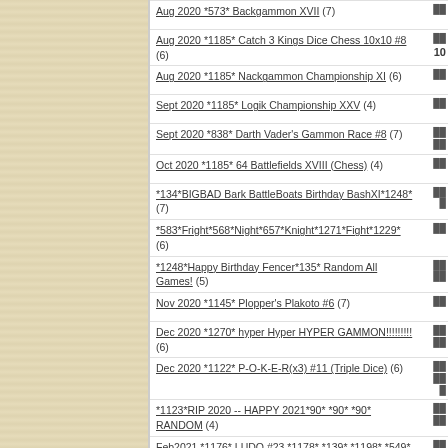Aug 2020 *573* Backgammon XVII (7)
Aug 2020 *1185* Catch 3 Kings Dice Chess 10x10 #8 (6)
Aug 2020 *1185* Nackgammon Championship XI (6)
Sept 2020 *1185* Logik Championship XXV (4)
Sept 2020 *838* Darth Vader's Gammon Race #8 (7)
Oct 2020 *1185* 64 Battlefields XVIII (Chess) (4)
*134*BIGBAD Bark BattleBoats Birthday BashXI*1248* (7)
*583*Fright*568*Night*657*Knight*1271*Fight*1229* (6)
*1248*Happy Birthday Fencer*135* Random All Games! (5)
Nov 2020 *1145* Plopper's Plakoto #6 (7)
Dec 2020 *1270* hyper Hyper HYPER GAMMON!!!!!!!!! (6)
Dec 2020 *1122* P-O-K-E-R(x3) #11 (Triple Dice) (6)
*1123*RIP 2020 -- HAPPY 2021*90* *90* *90* RANDOM (4)
Feb2021 *1176* LUDO #23 *1178* *139* *1198* *549* (5)
Feb 2021 *573* Backgammon XXVIII (6)